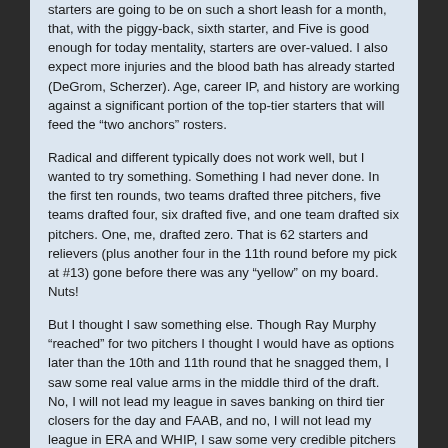starters are going to be on such a short leash for a month, that, with the piggy-back, sixth starter, and Five is good enough for today mentality, starters are over-valued. I also expect more injuries and the blood bath has already started (DeGrom, Scherzer). Age, career IP, and history are working against a significant portion of the top-tier starters that will feed the "two anchors" rosters.
Radical and different typically does not work well, but I wanted to try something. Something I had never done. In the first ten rounds, two teams drafted three pitchers, five teams drafted four, six drafted five, and one team drafted six pitchers. One, me, drafted zero. That is 62 starters and relievers (plus another four in the 11th round before my pick at #13) gone before there was any "yellow" on my board. Nuts!
But I thought I saw something else. Though Ray Murphy "reached" for two pitchers I thought I would have as options later than the 10th and 11th round that he snagged them, I saw some real value arms in the middle third of the draft. No, I will not lead my league in saves banking on third tier closers for the day and FAAB, and no, I will not lead my league in ERA and WHIP, I saw some very credible pitchers (starters mainly) that I would grab, and then focus my efforts on FAAB and streaming.